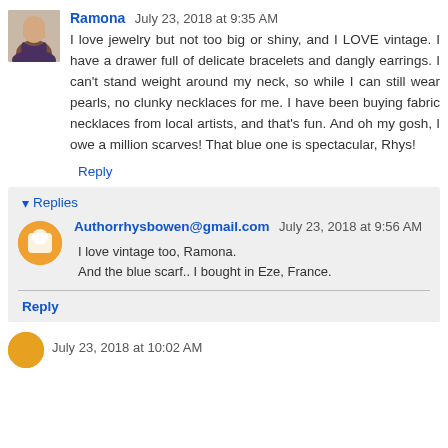Ramona  July 23, 2018 at 9:35 AM
I love jewelry but not too big or shiny, and I LOVE vintage. I have a drawer full of delicate bracelets and dangly earrings. I can't stand weight around my neck, so while I can still wear pearls, no clunky necklaces for me. I have been buying fabric necklaces from local artists, and that's fun. And oh my gosh, I owe a million scarves! That blue one is spectacular, Rhys!
Reply
▾ Replies
Authorrhysbowen@gmail.com  July 23, 2018 at 9:56 AM
I love vintage too, Ramona.
And the blue scarf.. I bought in Eze, France.
Reply
July 23, 2018 at 10:02 AM